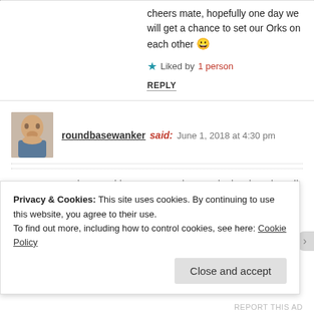cheers mate, hopefully one day we will get a chance to set our Orks on each other 😀
★ Liked by 1 person
REPLY
roundbasewanker said: June 1, 2018 at 4:30 pm
Great convershuns! I'd love to see a large orky battle using all those wacky charts especially the shokk attack gun and madboyz!
★ Like
Privacy & Cookies: This site uses cookies. By continuing to use this website, you agree to their use.
To find out more, including how to control cookies, see here: Cookie Policy
Close and accept